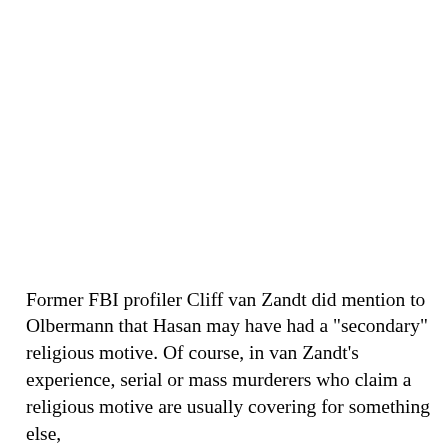Former FBI profiler Cliff van Zandt did mention to Olbermann that Hasan may have had a "secondary" religious motive. Of course, in van Zandt's experience, serial or mass murderers who claim a religious motive are usually covering for something else,